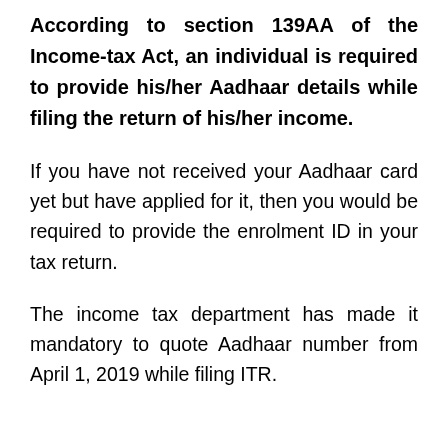According to section 139AA of the Income-tax Act, an individual is required to provide his/her Aadhaar details while filing the return of his/her income.
If you have not received your Aadhaar card yet but have applied for it, then you would be required to provide the enrolment ID in your tax return.
The income tax department has made it mandatory to quote Aadhaar number from April 1, 2019 while filing ITR.